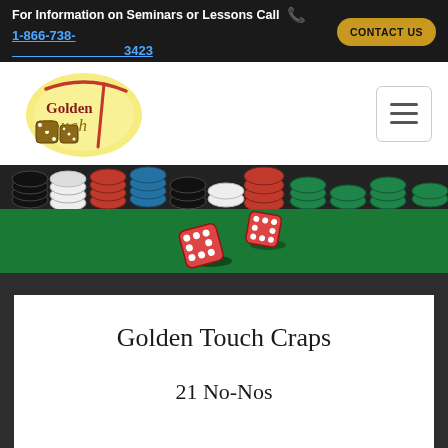For Information on Seminars or Lessons Call 📞 1-866-738-3423  CONTACT US
[Figure (logo): Golden Touch Craps logo with dice and stylized text on yellow circular background]
[Figure (photo): Casino craps table with red dice in the air and stacks of colorful casino chips on green felt]
Golden Touch Craps
21 No-Nos